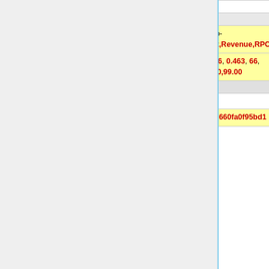|  | CSV | CSV |
| --- | --- | --- |
| - | Date,OfferId,Requests,Impressions,Clicks,Conversions,CR,FillRate,Cost,CPC,CTR,Profit,Revenue,RPC | Date,OfferId,AppId,BannerType,Country,Platform,Requests,Impressions,Clicks,Conversions,CR,Avg Payout,Spent |
| - | 2013-01-30, 4072698, 3118472, 76.57, 14446, 0.463, 66, 0.456, 132.00, 0.00913, 0.0068531, 23433.00,99.00 | 2013-07-07,0,ecbb9862-e64c-49b7-bde8-ac24ea77fd0b,banner,US,android,243357,235713,162,1,0.617,1.57,1.57 |
|  | CSV Error Example: | CSV Error Example: |
| - | Unknown zoneid=7c2bfe27-6262-4942-b4e-660fa0f95bd1 | Security Error (usually Unknown token) |